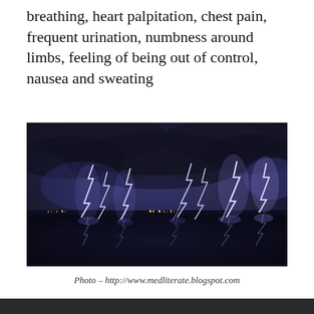breathing, heart palpitation, chest pain, frequent urination, numbness around limbs, feeling of being out of control, nausea and sweating
[Figure (photo): Night photo of multiple lightning bolts striking over a body of water, with city lights visible on the distant shoreline and reflections of lightning in the water below.]
Photo – http://www.medliterate.blogspot.com